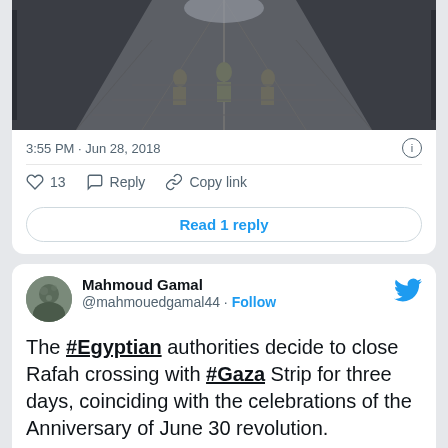[Figure (photo): Military/landing craft photo showing soldiers on a ramp, top portion of tweet]
3:55 PM · Jun 28, 2018
♡ 13   Reply   Copy link
Read 1 reply
Mahmoud Gamal @mahmouedgamal44 · Follow
The #Egyptian authorities decide to close Rafah crossing with #Gaza Strip for three days, coinciding with the celebrations of the Anniversary of June 30 revolution.
6:07 PM · Jun 28, 2018